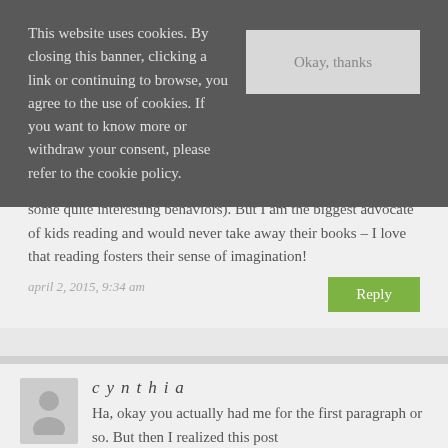This website uses cookies. By closing this banner, clicking a link or continuing to browse, you agree to the use of cookies. If you want to know more or withdraw your consent, please refer to the cookie policy.
some quite interesting behaviors). But I am the biggest advocate of kids reading and would never take away their books – I love that reading fosters their sense of imagination!
april 2, 2015, 9:34 am
Reply
cynthia
Ha, okay you actually had me for the first paragraph or so. But then I realized this post